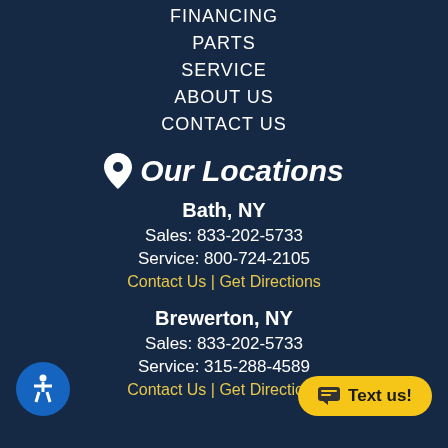FINANCING
PARTS
SERVICE
ABOUT US
CONTACT US
Our Locations
Bath, NY
Sales: 833-202-5733
Service: 800-724-2105
Contact Us | Get Directions
Brewerton, NY
Sales: 833-202-5733
Service: 315-288-4589
Contact Us | Get Directions